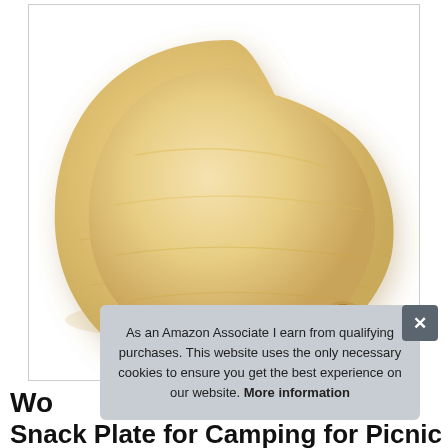[Figure (photo): A teardrop-shaped wooden serving plate or snack board with a small circular hole near the pointed tip, shown on a white background. The wood has a light natural grain finish.]
As an Amazon Associate I earn from qualifying purchases. This website uses the only necessary cookies to ensure you get the best experience on our website. More information
Wo
Snack Plate for Camping for Picnic